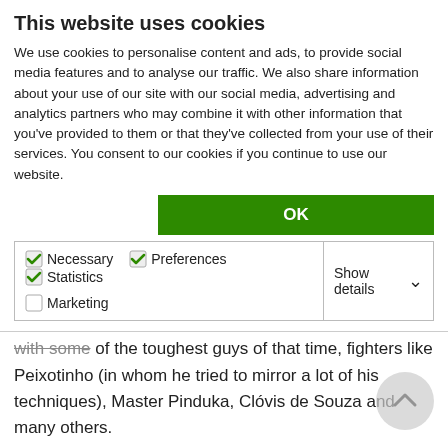This website uses cookies
We use cookies to personalise content and ads, to provide social media features and to analyse our traffic. We also share information about your use of our site with our social media, advertising and analytics partners who may combine it with other information that you've provided to them or that they've collected from your use of their services. You consent to our cookies if you continue to use our website.
OK
Necessary  Preferences  Statistics  Marketing  Show details
team Cassio Cardoso had a chance to meet and train with some of the toughest guys of that time, fighters like Peixotinho (in whom he tried to mirror a lot of his techniques), Master Pinduka, Clóvis de Souza and many others.
Cassio's first competition was when he was 17 years old as a junior blue belt. He fought against a student of Master Francisco Mansor and after being thrown 3 consecutive times he managed to choke his opponent and put him to sleep. This was enough to hook the young Cardoso to competition. He became a fierce competitor and did not lose one single fight